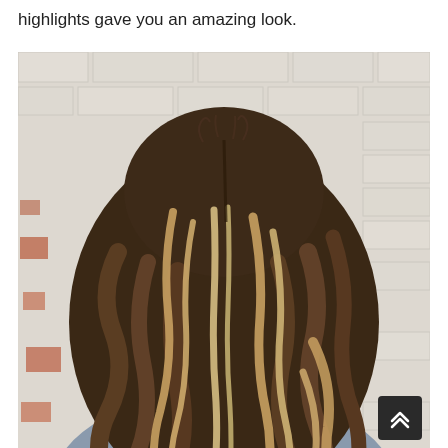highlights gave you an amazing look.
[Figure (photo): Back view of a woman with dark brown hair featuring warm caramel and blonde balayage highlights, styled in loose wavy curls, against a white brick wall background. She is wearing a grey top.]